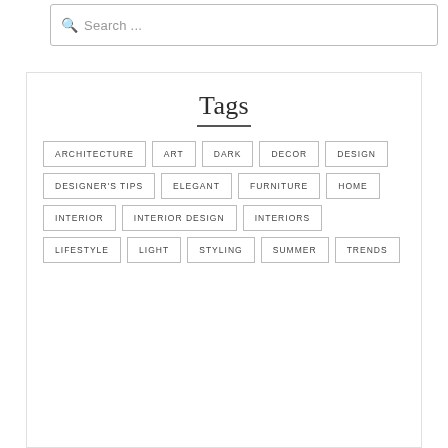Search ...
Tags
ARCHITECTURE
ART
DARK
DECOR
DESIGN
DESIGNER'S TIPS
ELEGANT
FURNITURE
HOME
INTERIOR
INTERIOR DESIGN
INTERIORS
LIFESTYLE
LIGHT
STYLING
SUMMER
TRENDS